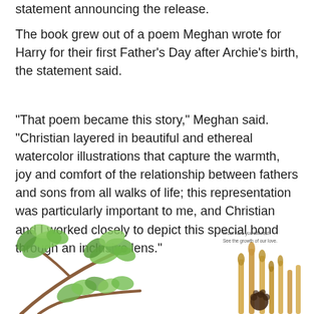statement announcing the release.
The book grew out of a poem Meghan wrote for Harry for their first Father's Day after Archie's birth, the statement said.
"That poem became this story," Meghan said. "Christian layered in beautiful and ethereal watercolor illustrations that capture the warmth, joy and comfort of the relationship between fathers and sons from all walks of life; this representation was particularly important to me, and Christian and I worked closely to depict this special bond through an inclusive lens."
[Figure (illustration): Watercolor illustration showing green leafy branches on the left and tall yellow stalks with a child figure on the right, with small text reading 'From here you will rest / See the growth of our love.']